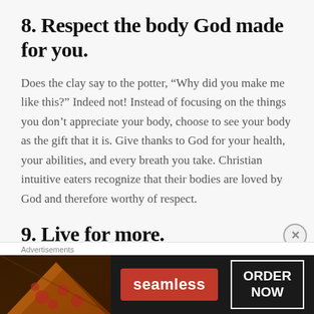8. Respect the body God made for you.
Does the clay say to the potter, “Why did you make me like this?” Indeed not! Instead of focusing on the things you don’t appreciate your body, choose to see your body as the gift that it is. Give thanks to God for your health, your abilities, and every breath you take. Christian intuitive eaters recognize that their bodies are loved by God and therefore worthy of respect.
9. Live for more.
So you want to lose weight…? If you succeed in that, then
Advertisements
[Figure (other): Seamless food delivery advertisement banner with pizza image on left, red Seamless logo in center, and ORDER NOW button on right, on dark background.]